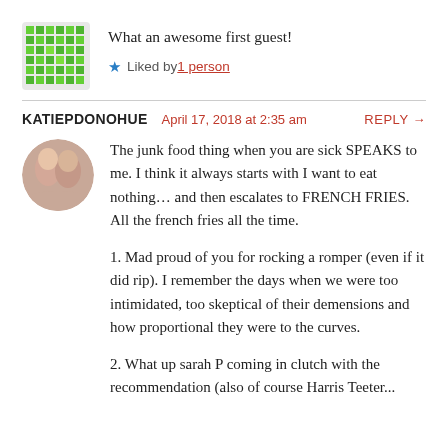What an awesome first guest!
Liked by 1 person
KATIEPDONOHUE  April 17, 2018 at 2:35 am  REPLY →
The junk food thing when you are sick SPEAKS to me. I think it always starts with I want to eat nothing… and then escalates to FRENCH FRIES. All the french fries all the time.
1. Mad proud of you for rocking a romper (even if it did rip). I remember the days when we were too intimidated, too skeptical of their demensions and how proportional they were to the curves.
2. What up sarah P coming in clutch with the recommendation (also of course Harris Teeter...